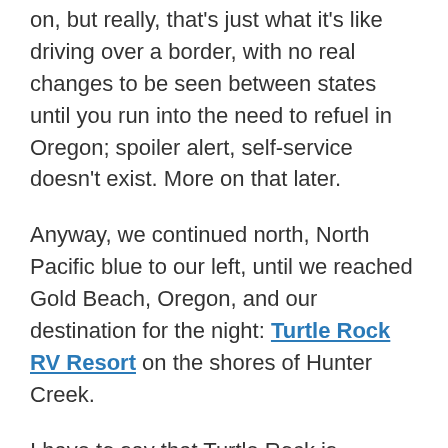on, but really, that's just what it's like driving over a border, with no real changes to be seen between states until you run into the need to refuel in Oregon; spoiler alert, self-service doesn't exist. More on that later.
Anyway, we continued north, North Pacific blue to our left, until we reached Gold Beach, Oregon, and our destination for the night: Turtle Rock RV Resort on the shores of Hunter Creek.
I have to say that Turtle Rock is probably the site I'm most likely to revisit from our entire trip. It's not that it's an earthly paradise, but it has paradisial elements, and we got to stay there for two nights, always a pleasure (albeit having to switch actual sites).
It has an open, elongated layout, with options for tent